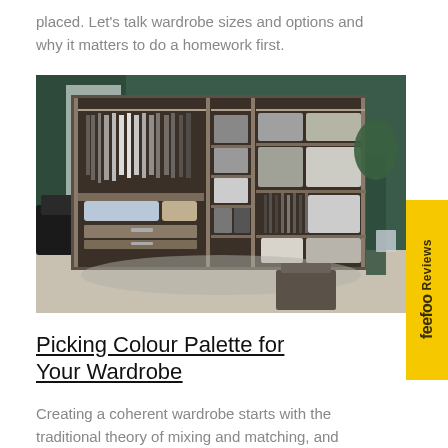placed. Let's talk wardrobe sizes and options and why it matters to do a homework first.
[Figure (photo): Interior photo of an open wardrobe with hanging clothes, folded items, storage boxes, and drawers against a dark green wall. A black sofa and plant are visible to the sides.]
Picking Colour Palette for Your Wardrobe
Creating a coherent wardrobe starts with the traditional theory of mixing and matching, and